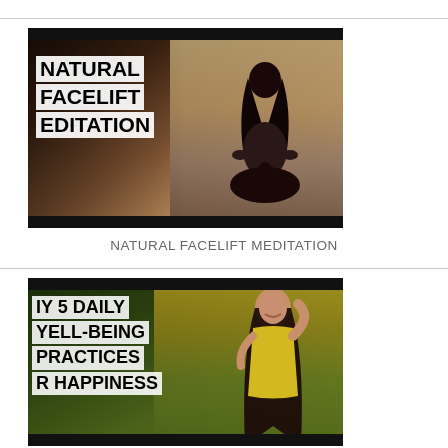[Figure (photo): Video thumbnail for Natural Facelift Meditation showing a woman meditating in lotus position at sunset/dusk, with text overlay on white background boxes reading NATURAL FACELIFT EDITATION]
NATURAL FACELIFT MEDITATION
[Figure (photo): Video thumbnail for My 5 Daily Well-Being Practices For Happiness showing a smiling woman with long dark hair in a yellow top against tropical green background, with text overlay on white background boxes reading IY 5 DAILY WELL-BEING PRACTICES R HAPPINESS]